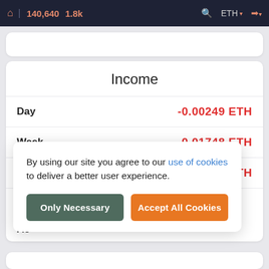🏠 | 140,640  1.8k   🔍  ETH ▾  ➜ ▾
Income
| Period | Value |
| --- | --- |
| Day | -0.00249 ETH |
| Week | -0.01748 ETH |
| Month | -0.0777 ETH |
| AP… |  |
| Eli… |  |
| Ac… |  |
By using our site you agree to our use of cookies to deliver a better user experience.
Only Necessary   Accept All Cookies